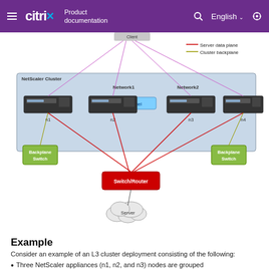Citrix Product documentation | English
[Figure (network-graph): NetScaler Cluster L3 deployment diagram showing 4 nodes (n1, n2, n3, n4) inside a cluster box with Network1 and Network2 labels, a Tunnel element, two Backplane Switch boxes (green), a Switch/Router box (red) at center bottom connected by red server data plane lines to all nodes, and a Server cloud shape below the switch. Legend shows red=Server data plane, olive=Cluster backplane.]
Example
Consider an example of an L3 cluster deployment consisting of the following:
Three NetScaler appliances (n1, n2, and n3) nodes are grouped